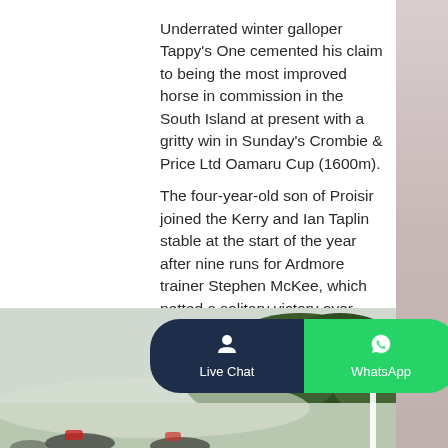Underrated winter galloper Tappy's One cemented his claim to being the most improved horse in commission in the South Island at present with a gritty win in Sunday's Crombie & Price Ltd Oamaru Cup (1600m). The four-year-old son of Proisir joined the Kerry and Ian Taplin stable at the start of the year after nine runs for Ardmore trainer Stephen McKee, which netted a solitary victory over 1200m at Tauranga as a two-year-old.
[Figure (photo): Bottom portion of page showing a horse racing scene with green trees/hills in background, partially obscured by Live Chat and WhatsApp buttons overlay]